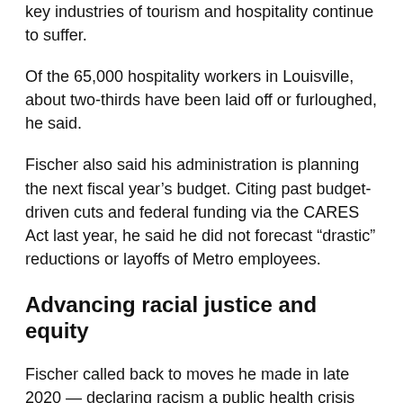key industries of tourism and hospitality continue to suffer.
Of the 65,000 hospitality workers in Louisville, about two-thirds have been laid off or furloughed, he said.
Fischer also said his administration is planning the next fiscal year's budget. Citing past budget-driven cuts and federal funding via the CARES Act last year, he said he did not forecast “drastic” reductions or layoffs of Metro employees.
Advancing racial justice and equity
Fischer called back to moves he made in late 2020 — declaring racism a public health crisis and releasing a document outlining goals and strategies